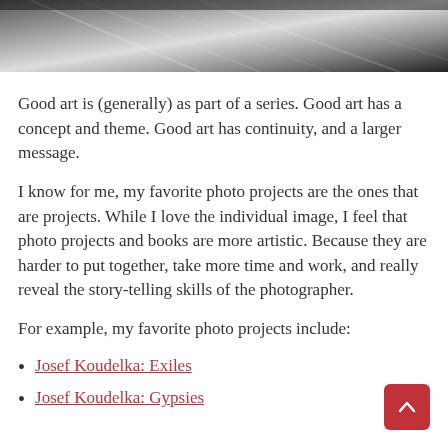[Figure (photo): Black and white photograph partially visible at the top of the page, showing abstract lines and shapes]
Good art is (generally) as part of a series. Good art has a concept and theme. Good art has continuity, and a larger message.
I know for me, my favorite photo projects are the ones that are projects. While I love the individual image, I feel that photo projects and books are more artistic. Because they are harder to put together, take more time and work, and really reveal the story-telling skills of the photographer.
For example, my favorite photo projects include:
Josef Koudelka: Exiles
Josef Koudelka: Gypsies